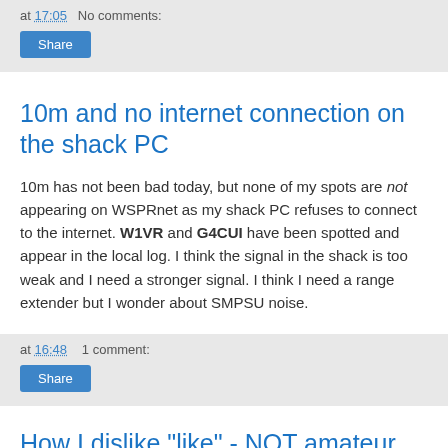at 17:05   No comments:
10m and no internet connection on the shack PC
10m has not been bad today, but none of my spots are not appearing on WSPRnet as my shack PC refuses to connect to the internet. W1VR and G4CUI have been spotted and appear in the local log. I think the signal in the shack is too weak and I need a stronger signal. I think I need a range extender but I wonder about SMPSU noise.
at 16:48   1 comment:
How I dislike "like" - NOT amateur